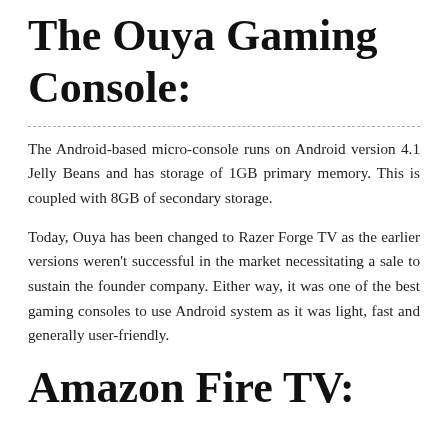The Ouya Gaming Console:
The Android-based micro-console runs on Android version 4.1 Jelly Beans and has storage of 1GB primary memory. This is coupled with 8GB of secondary storage.
Today, Ouya has been changed to Razer Forge TV as the earlier versions weren't successful in the market necessitating a sale to sustain the founder company. Either way, it was one of the best gaming consoles to use Android system as it was light, fast and generally user-friendly.
Amazon Fire TV: